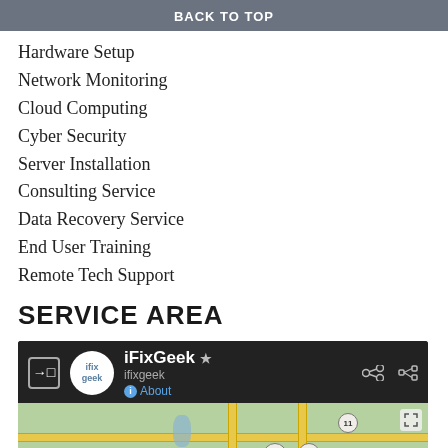IT Support
BACK TO TOP
Hardware Setup
Network Monitoring
Cloud Computing
Cyber Security
Server Installation
Consulting Service
Data Recovery Service
End User Training
Remote Tech Support
SERVICE AREA
[Figure (screenshot): Google Maps embed showing iFixGeek location with map header panel (logo, name, share/expand icons) and map view showing Valley View and Whitewright areas with highways 289, 75, and 11.]